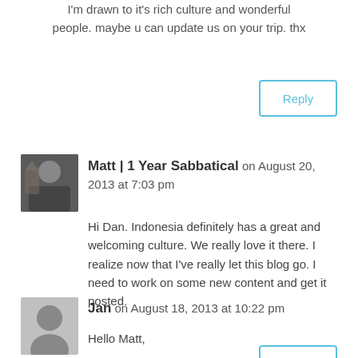I'm drawn to it's rich culture and wonderful people. maybe u can update us on your trip. thx
Reply
Matt | 1 Year Sabbatical on August 20, 2013 at 7:03 pm
Hi Dan. Indonesia definitely has a great and welcoming culture. We really love it there. I realize now that I've really let this blog go. I need to work on some new content and get it posted.
Reply
Jan on August 18, 2013 at 10:22 pm
Hello Matt,